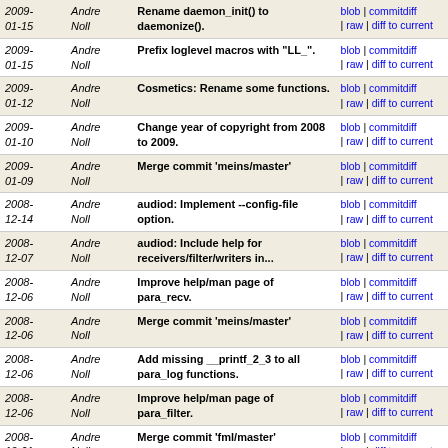| Date | Author | Commit Message | Links |
| --- | --- | --- | --- |
| 2009-01-15 | Andre Noll | Rename daemon_init() to daemonize(). | blob | commitdiff | raw | diff to current |
| 2009-01-15 | Andre Noll | Prefix loglevel macros with "LL_". | blob | commitdiff | raw | diff to current |
| 2009-01-12 | Andre Noll | Cosmetics: Rename some functions. | blob | commitdiff | raw | diff to current |
| 2009-01-10 | Andre Noll | Change year of copyright from 2008 to 2009. | blob | commitdiff | raw | diff to current |
| 2009-01-09 | Andre Noll | Merge commit 'meins/master' | blob | commitdiff | raw | diff to current |
| 2008-12-14 | Andre Noll | audiod: Implement --config-file option. | blob | commitdiff | raw | diff to current |
| 2008-12-07 | Andre Noll | audiod: Include help for receivers/filter/writers in... | blob | commitdiff | raw | diff to current |
| 2008-12-06 | Andre Noll | Improve help/man page of para_recv. | blob | commitdiff | raw | diff to current |
| 2008-12-06 | Andre Noll | Merge commit 'meins/master' | blob | commitdiff | raw | diff to current |
| 2008-12-06 | Andre Noll | Add missing __printf_2_3 to all para_log functions. | blob | commitdiff | raw | diff to current |
| 2008-12-06 | Andre Noll | Improve help/man page of para_filter. | blob | commitdiff | raw | diff to current |
| 2008-12-01 | Andre Noll | Merge commit 'fml/master' | blob | commitdiff | raw | diff to current |
| 2008-12-01 | Andre Noll | Replace MAX, MIN, ABS macros by type-checking variants. | blob | commitdiff | raw | diff to current |
| 2008-... | Andre | Avoid "no connection to... | blob | commitdiff |